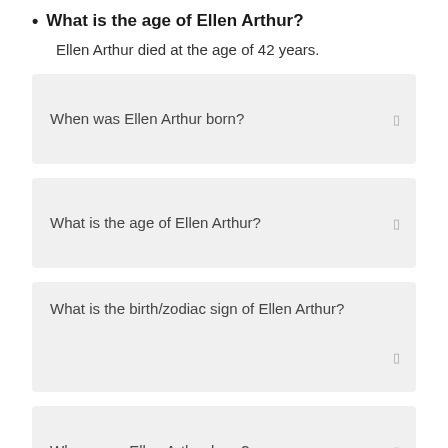What is the age of Ellen Arthur?
Ellen Arthur died at the age of 42 years.
When was Ellen Arthur born?
What is the age of Ellen Arthur?
What is the birth/zodiac sign of Ellen Arthur?
Where was Ellen Arthur born?